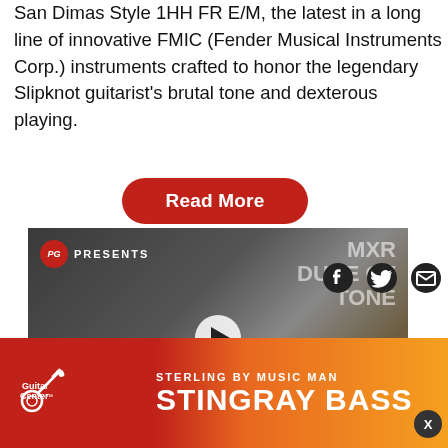San Dimas Style 1HH FR E/M, the latest in a long line of innovative FMIC (Fender Musical Instruments Corp.) instruments crafted to honor the legendary Slipknot guitarist's brutal tone and dexterous playing.
Read More
[Figure (screenshot): Video thumbnail for PG Presents MXR Duke of Tone First Look, showing a musician holding a guitar with FIRST LOOK badge overlay and play button]
[Figure (infographic): Social media share icons: Facebook, Twitter, Email]
LATEST
[Figure (infographic): Guitar Center advertisement: Sterling by Music Man Stingray Bass, with Guitar Center logo on orange-red gradient background]